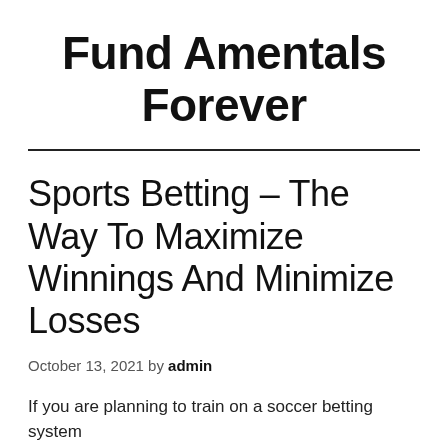Fund Amentals Forever
Sports Betting – The Way To Maximize Winnings And Minimize Losses
October 13, 2021 by admin
If you are planning to train on a soccer betting system